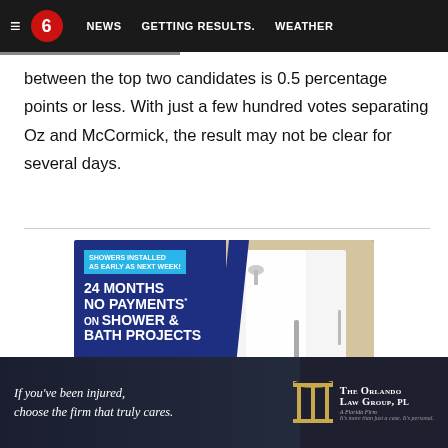≡  6  NEWS  GETTING RESULTS.  WEATHER
between the top two candidates is 0.5 percentage points or less. With just a few hundred votes separating Oz and McCormick, the result may not be clear for several days.
[Figure (other): Advertisement for shower installation: SHOWERS INSTALLED AS EARLY AS NEXT WEEK! 24 MONTHS NO PAYMENTS* ON SHOWER & BATH PROJECTS. *Some restrictions may apply. Visit www.dabroehome.com for full details.]
[Figure (other): Advertisement: The Orlando Law Group, PL - If you've been injured, choose the firm that truly cares. It's more than just a case. It's personal.]